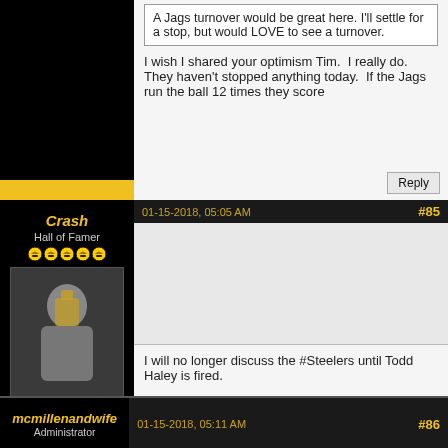A Jags turnover would be great here. I'll settle for a stop, but would LOVE to see a turnover.
I wish I shared your optimism Tim.  I really do.  They haven't stopped anything today.  If the Jags run the ball 12 times they score
Reply
Crash
Hall of Famer
Posts: 869
Joined: May 2017
01-15-2018, 05:05 AM
#85
I will no longer discuss the #Steelers until Todd Haley is fired.

If they don't care why should I?
Reply
mcmillenandwife
Administrator
01-15-2018, 05:11 AM
#86